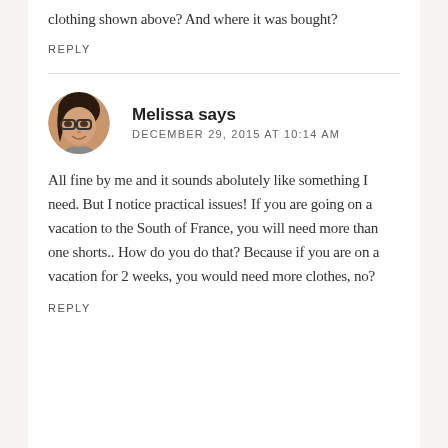clothing shown above? And where it was bought?
REPLY
[Figure (photo): Circular avatar photo of Melissa, a woman with dark hair and glasses, smiling]
Melissa says
DECEMBER 29, 2015 AT 10:14 AM
All fine by me and it sounds abolutely like something I need. But I notice practical issues! If you are going on a vacation to the South of France, you will need more than one shorts.. How do you do that? Because if you are on a vacation for 2 weeks, you would need more clothes, no?
REPLY